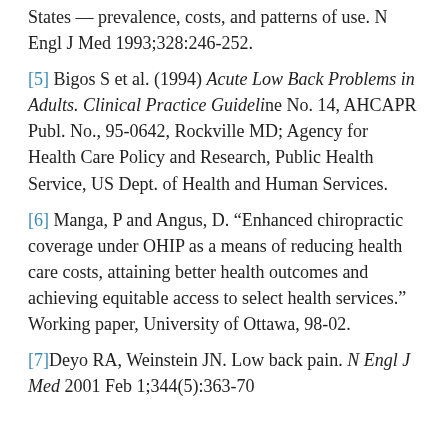States — prevalence, costs, and patterns of use. N Engl J Med 1993;328:246-252.
[5] Bigos S et al. (1994) Acute Low Back Problems in Adults. Clinical Practice Guideline No. 14, AHCAPR Publ. No., 95-0642, Rockville MD; Agency for Health Care Policy and Research, Public Health Service, US Dept. of Health and Human Services.
[6] Manga, P and Angus, D. "Enhanced chiropractic coverage under OHIP as a means of reducing health care costs, attaining better health outcomes and achieving equitable access to select health services." Working paper, University of Ottawa, 98-02.
[7] Deyo RA, Weinstein JN. Low back pain. N Engl J Med 2001 Feb 1;344(5):363-70